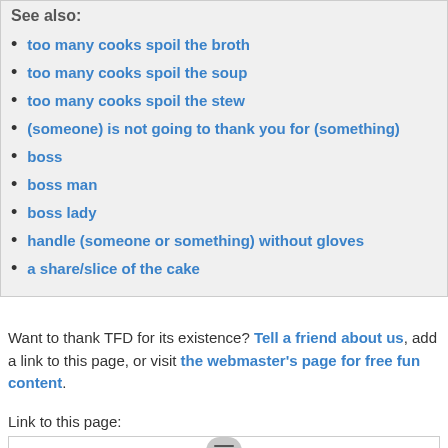See also:
too many cooks spoil the broth
too many cooks spoil the soup
too many cooks spoil the stew
(someone) is not going to thank you for (something)
boss
boss man
boss lady
handle (someone or something) without gloves
a share/slice of the cake
Want to thank TFD for its existence? Tell a friend about us, add a link to this page, or visit the webmaster's page for free fun content.
Link to this page: